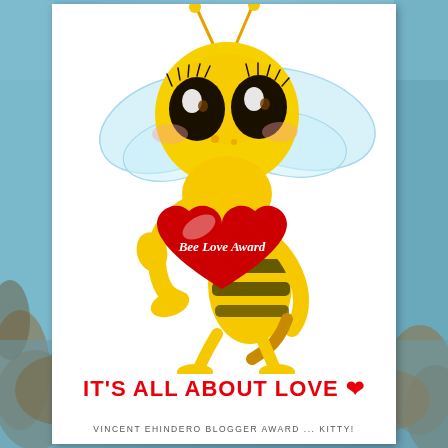[Figure (illustration): Cute cartoon bee with big brown eyes, yellow and black striped body, light blue wings, holding a large red heart that says 'Bee Love Award' in white italic text. The bee has antennae with yellow balls at the top and yellow legs.]
IT'S ALL ABOUT LOVE ❤
VINCENT EHINDERO BLOGGER AWARD ... KITTY!